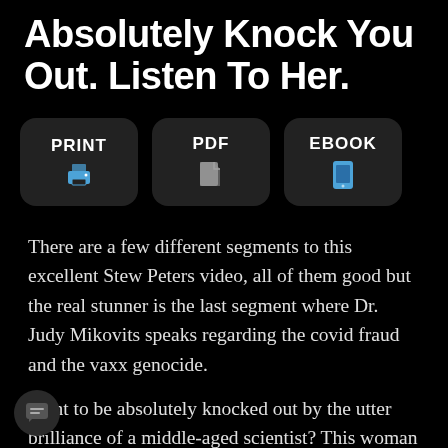Absolutely Knock You Out. Listen To Her.
[Figure (infographic): Three buttons in a row: PRINT (printer icon), PDF (document icon), EBOOK (tablet icon), on dark rounded rectangles]
There are a few different segments to this excellent Stew Peters video, all of them good but the real stunner is the last segment where Dr. Judy Mikovits speaks regarding the covid fraud and the vaxx genocide.
Want to be absolutely knocked out by the utter brilliance of a middle-aged scientist? This woman could be the human banner for